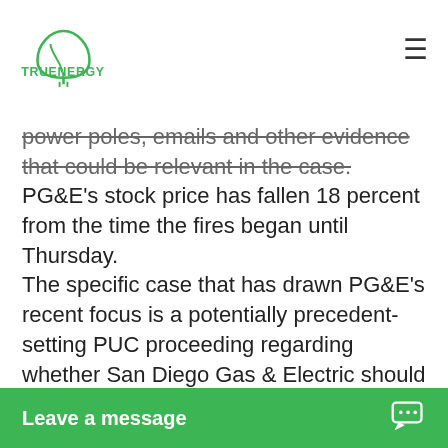TRUENERGY [logo] — navigation hamburger
power poles, emails and other evidence that could be relevant in the case. PG&E's stock price has fallen 18 percent from the time the fires began until Thursday. The specific case that has drawn PG&E's recent focus is a potentially precedent-setting PUC proceeding regarding whether San Diego Gas & Electric should be forced to pay $379 million in expenses that its insurance did not cover after the utility's power lines were blamed for starting three huge fires in San Diego County in 2007. The outcome of that San Diego County case is “likely to impact PG&E directly in the future,” PG&E attorney Michael Klotz said Oct. 4 in a filing with the PUC.
Leave a message